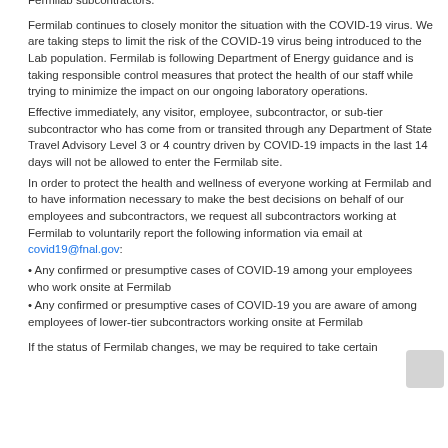Fermilab subcontractors.
Fermilab continues to closely monitor the situation with the COVID-19 virus. We are taking steps to limit the risk of the COVID-19 virus being introduced to the Lab population. Fermilab is following Department of Energy guidance and is taking responsible control measures that protect the health of our staff while trying to minimize the impact on our ongoing laboratory operations.
Effective immediately, any visitor, employee, subcontractor, or sub-tier subcontractor who has come from or transited through any Department of State Travel Advisory Level 3 or 4 country driven by COVID-19 impacts in the last 14 days will not be allowed to enter the Fermilab site.
In order to protect the health and wellness of everyone working at Fermilab and to have information necessary to make the best decisions on behalf of our employees and subcontractors, we request all subcontractors working at Fermilab to voluntarily report the following information via email at covid19@fnal.gov:
• Any confirmed or presumptive cases of COVID-19 among your employees who work onsite at Fermilab
• Any confirmed or presumptive cases of COVID-19 you are aware of among employees of lower-tier subcontractors working onsite at Fermilab
If the status of Fermilab changes, we may be required to take certain